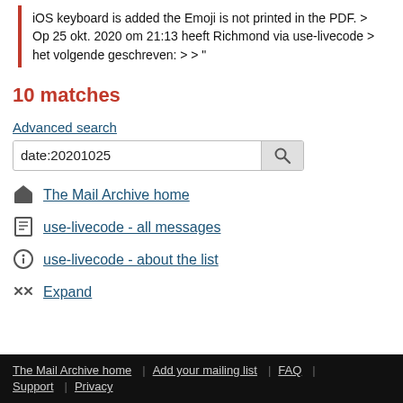iOS keyboard is added the Emoji is not printed in the PDF. > Op 25 okt. 2020 om 21:13 heeft Richmond via use-livecode > het volgende geschreven: > > "
10 matches
Advanced search
date:20201025
The Mail Archive home
use-livecode - all messages
use-livecode - about the list
Expand
The Mail Archive home | Add your mailing list | FAQ | Support | Privacy